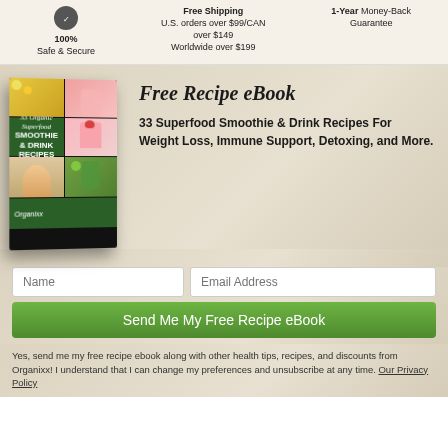100% Safe & Secure
Free Shipping
U.S. orders over $99/CAN over $149
Worldwide over $199
1-Year Money-Back Guarantee
[Figure (illustration): Book cover: 33 Organic Superfood Smoothie & Drink Recipes with photo collage]
Free Recipe eBook
33 Superfood Smoothie & Drink Recipes For Weight Loss, Immune Support, Detoxing, and More.
Name
Email Address
Send Me My Free Recipe eBook
Yes, send me my free recipe ebook along with other health tips, recipes, and discounts from Organixx! I understand that I can change my preferences and unsubscribe at any time. Our Privacy Policy